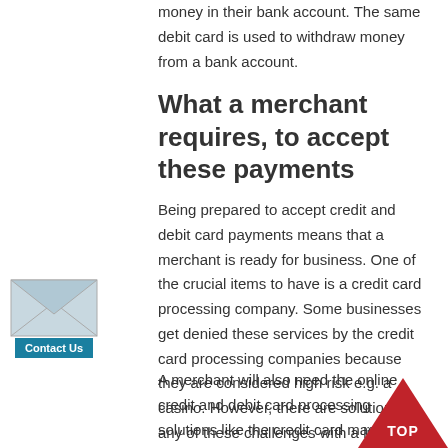money in their bank account. The same debit card is used to withdraw money from a bank account.
What a merchant requires, to accept these payments
Being prepared to accept credit and debit card payments means that a merchant is ready for business. One of the crucial items to have is a credit card processing company. Some businesses get denied these services by the credit card processing companies because they are considered high risk e.g. a casino. However, there are solutions to any of these challenges with a little bit of research.
[Figure (illustration): Envelope icon with Contact Us button below it]
A merchant will also need the online credit and debit card processing solutions like the credit card machine, or any other recommended terminal
[Figure (illustration): Red triangle TOP navigation button at bottom right]